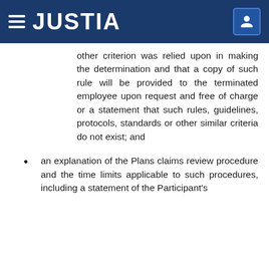JUSTIA
other criterion was relied upon in making the determination and that a copy of such rule will be provided to the terminated employee upon request and free of charge or a statement that such rules, guidelines, protocols, standards or other similar criteria do not exist; and
an explanation of the Plans claims review procedure and the time limits applicable to such procedures, including a statement of the Participant's